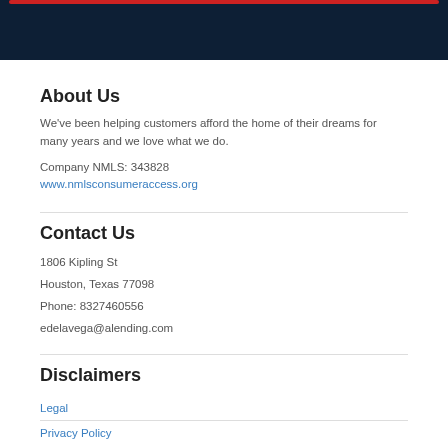About Us
We've been helping customers afford the home of their dreams for many years and we love what we do.
Company NMLS: 343828
www.nmlsconsumeraccess.org
Contact Us
1806 Kipling St
Houston, Texas 77098
Phone: 8327460556
edelavega@alending.com
Disclaimers
Legal
Privacy Policy